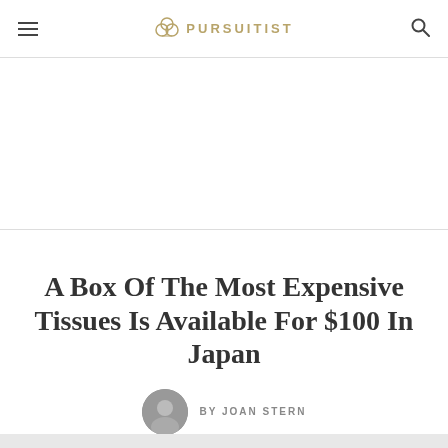PURSUITIST
[Figure (other): Advertisement placeholder area, white/blank space]
A Box Of The Most Expensive Tissues Is Available For $100 In Japan
BY JOAN STERN